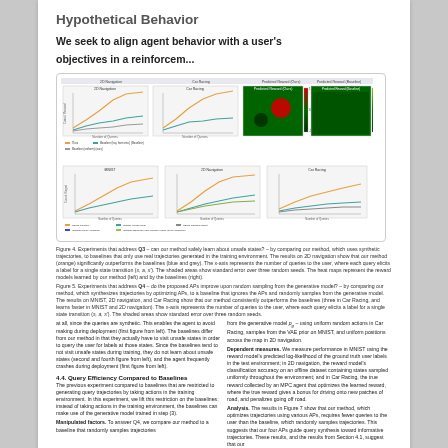Hypothetical Behavior
We seek to align agent behavior with a user's objectives in a reinforcem...
[Figure (other): Figure with multiple subplots showing learning curves for 2D navigation and heatmaps for Predicted Reward (Ours) and Predicted Reward (Baseline). Top row: two line charts and two heatmaps. Second row (Figure 5): three line charts for MNIST, 2D Navigation, Car Racing showing Cumulative Regret vs Number of Queries.]
Figure 4. Experiments that address Q3 – can our method safely learn about unsafe states? – by comparing our method, which uses synthetic trajectories, to baselines that only use real trajectories generated in the training environment. The results on 2D navigation show that our method (orange) significantly outperforms the baselines (blue and grey). The x-axis represents the number of queries to the user, where each query elicits a label for a single state transition (s, a, s'). The shaded areas show standard error over three random seeds. The heat maps represent the reward models learned by our method (left) and by the baselines (right).
Figure 5. Experiments that address Q4 – do the proposed APs improve upon random sampling from the generative model? – by comparing our method, which synthesizes trajectories by optimizing APs, to a baseline that ignores the APs and randomly samples from the generative model. The results on MNIST, 2D navigation, and Car Racing show that our method consistently outperforms the baselines (three in Car Racing, and learns faster in MNIST and 2D navigation). The x-axis represents the number of queries to the user, where each query elicits a label for a single state transition (s, a, s'). The shaded areas show standard error over three random seeds.
at all, since the queries are synthetic. This enables the agent to avoid making during deployment (first figure from left). The baselines differ from our method in that they actually have to visit unsafe states in order to query the user for labels at those states. Since the baselines tend to not visit unsafe states during training, they do not learn about unsafe states (second and fourth figure from left), and the agent frequently crashes during deployment (first figure from left).
from the generative model p_g – using uniform random actions in Car Racing, samples from the VAE prior on MNIST, and uniform positions across the map in 2D navigation.
Dependent measures. We measure performance in MNIST using the reward model's predicted log-likelihood of the ground truth user labels in the test environment; in 2D navigation, the reward model's classification accuracy on an offline dataset containing states sampled uniformly throughout the environment; and in Car Racing, the true reward collected by an MPC agent that optimizes the learned reward, where the true reward gives a bonus for driving onto new patches of road, and penalizes going off road.
4.4. Query Efficiency Compared to Baselines
The previous experiment compared to baselines that are restricted to generating query trajectories by taking actions in the training environment. In this experiment, we lift this restriction on the baselines: instead of taking actions in the training environment, the baselines can make use of the generative model trained in step (3).
Manipulated factors. To answer Q4, we compare our method to a baseline that randomly samples trajectories
Analysis. The results in Figure 7 show that our method, which optimizes trajectories using various APs, requires fewer queries to the user than the baseline, which randomly samples trajectories. This suggests that our four APs guide query synthesis toward informative trajectories. These results, and the results from Section 4.1, suggest that our